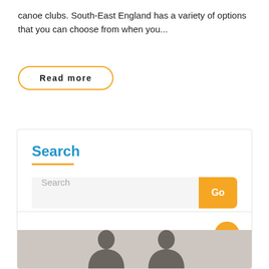canoe clubs. South-East England has a variety of options that you can choose from when you...
Read more
Search
Search
Latest Posts
[Figure (photo): Two people facing each other, silhouetted against a light grey background]